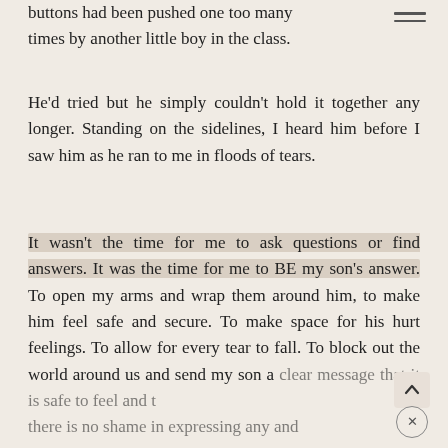buttons had been pushed one too many times by another little boy in the class.
He'd tried but he simply couldn't hold it together any longer. Standing on the sidelines, I heard him before I saw him as he ran to me in floods of tears.
It wasn't the time for me to ask questions or find answers. It was the time for me to BE my son's answer. To open my arms and wrap them around him, to make him feel safe and secure. To make space for his hurt feelings. To allow for every tear to fall. To block out the world around us and send my son a clear message that it is safe to feel and there is no shame in expressing any and